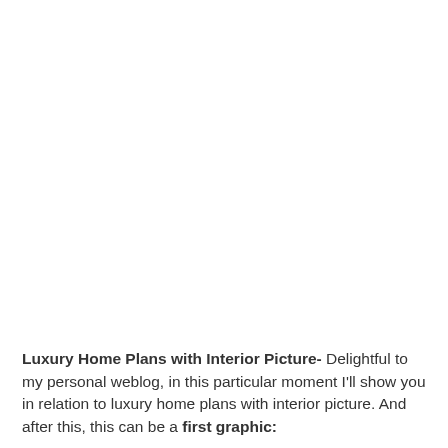Luxury Home Plans with Interior Picture- Delightful to my personal weblog, in this particular moment I'll show you in relation to luxury home plans with interior picture. And after this, this can be a first graphic: